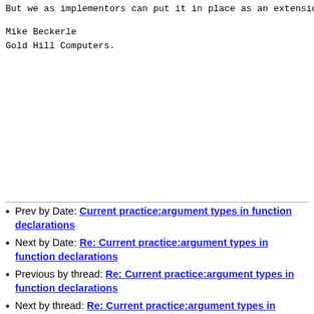But we as implementors can put it in place as an extensio
Mike Beckerle
Gold Hill Computers.
Prev by Date: Current practice:argument types in function declarations
Next by Date: Re: Current practice:argument types in function declarations
Previous by thread: Re: Current practice:argument types in function declarations
Next by thread: Re: Current practice:argument types in function declarations